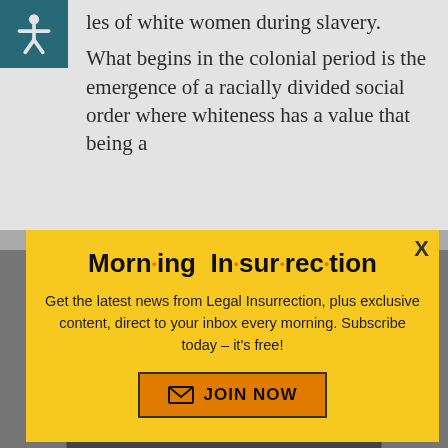…les of white women during slavery.
What begins in the colonial period is the emergence of a racially divided social order where whiteness has a value that being a
[Figure (infographic): Modal popup with yellow background. Title reads 'Morning Insurrection' with orange dots between syllables. Body text: 'Get the latest news from Legal Insurrection, plus exclusive content, direct to your inbox every morning. Subscribe today – it's free!' Orange 'JOIN NOW' button with envelope icon. Close X in top-right corner.]
Back to Top
[Figure (other): Dark bottom bar with white close X button]